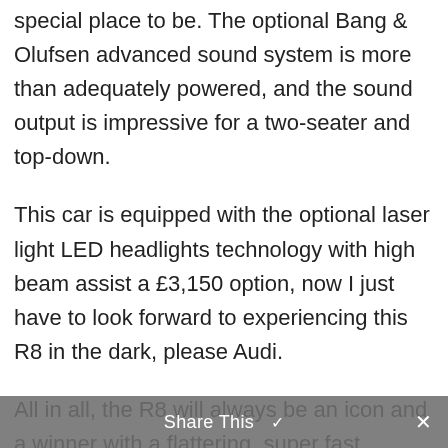special place to be. The optional Bang & Olufsen advanced sound system is more than adequately powered, and the sound output is impressive for a two-seater and top-down.
This car is equipped with the optional laser light LED headlights technology with high beam assist a £3,150 option, now I just have to look forward to experiencing this R8 in the dark, please Audi.
All in all, the R8 will always be an icon and a winner with a flattering, super fast,
Share This ∨  ✕